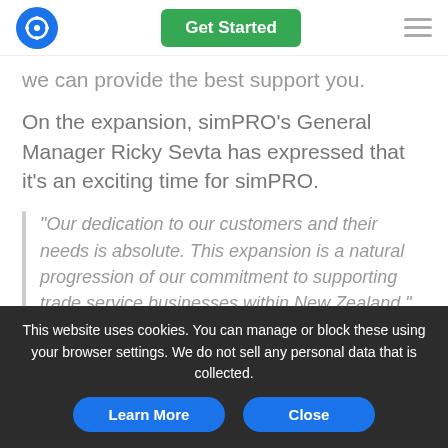Get Started
we can provide the best support you.
On the expansion, simPRO's General Manager Ricky Sevta has expressed that it's an exciting time for simPRO.
"Our dedication to our customers and their needs is absolute. This expansion is a natural progression of our commitment to supporting trade service businesses within New Zealand."
This website uses cookies. You can manage or block these using your browser settings. We do not sell any personal data that is collected.